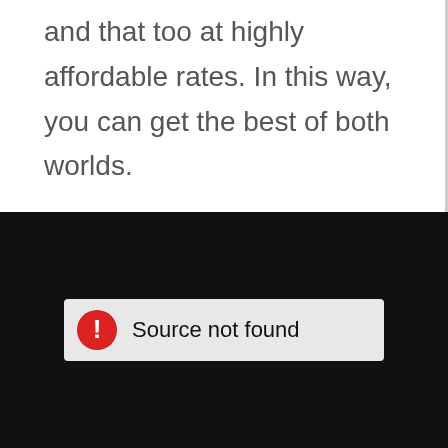and that too at highly affordable rates. In this way, you can get the best of both worlds.
[Figure (screenshot): Video player showing black screen with 'Source not found' error message and red exclamation icon]